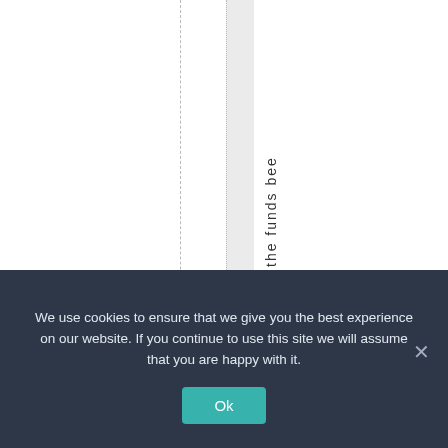id
.
"
Had the funds bee
We use cookies to ensure that we give you the best experience on our website. If you continue to use this site we will assume that you are happy with it.
Ok